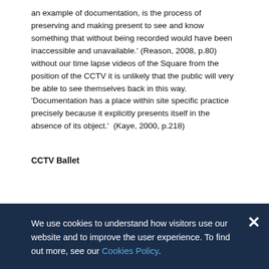an example of documentation, is the process of preserving and making present to see and know something that without being recorded would have been inaccessible and unavailable.' (Reason, 2008, p.80) without our time lapse videos of the Square from the position of the CCTV it is unlikely that the public will very be able to see themselves back in this way. 'Documentation has a place within site specific practice precisely because it explicitly presents itself in the absence of its object.'  (Kaye, 2000, p.218)
CCTV Ballet
We use cookies to understand how visitors use our website and to improve the user experience. To find out more, see our Cookies Policy.